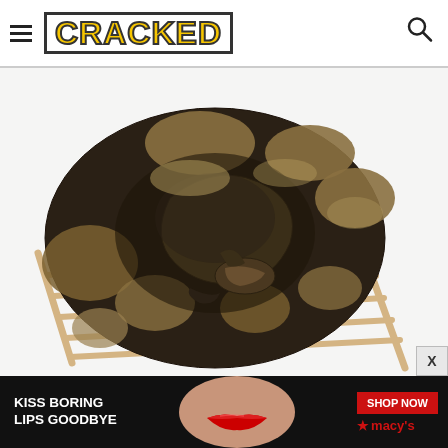CRACKED
[Figure (photo): A coiled ball python resting on a small wooden ladder against a white background]
BananaStock/BananaStock/Getty Images
[Figure (photo): Advertisement banner: KISS BORING LIPS GOODBYE - Macy's SHOP NOW]